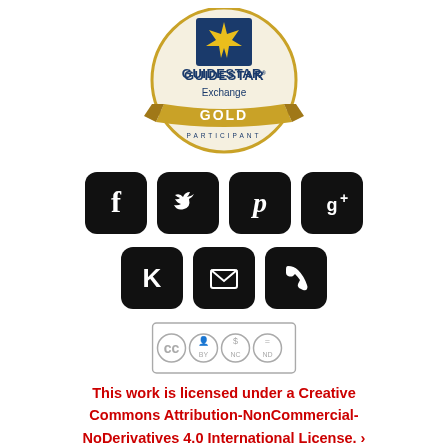[Figure (logo): GuideStar Exchange Gold Participant badge/seal]
[Figure (infographic): Social media icons: Facebook, Twitter, Pinterest, Google+, Klout, Email, Phone]
[Figure (logo): Creative Commons BY-NC-ND license badge]
This work is licensed under a Creative Commons Attribution-NonCommercial-NoDerivatives 4.0 International License. ›